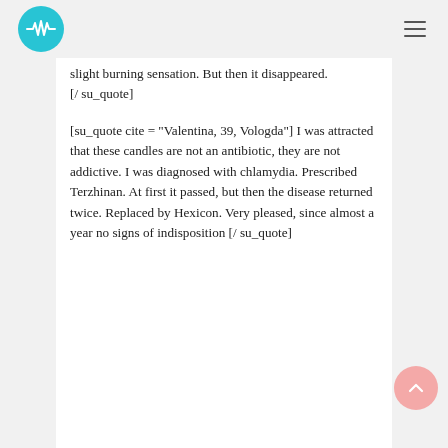[logo and navigation]
slight burning sensation. But then it disappeared. [/ su_quote]
[su_quote cite = "Valentina, 39, Vologda"] I was attracted that these candles are not an antibiotic, they are not addictive. I was diagnosed with chlamydia. Prescribed Terzhinan. At first it passed, but then the disease returned twice. Replaced by Hexicon. Very pleased, since almost a year no signs of indisposition [/ su_quote]